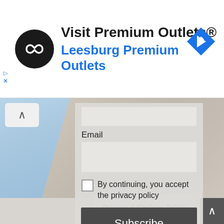[Figure (screenshot): Advertisement banner for Premium Outlets showing logo, text 'Visit Premium Outlets® Leesburg Premium Outlets', and a navigation arrow icon]
Email
By continuing, you accept the privacy policy
Subscribe
Privacy & Cookies Policy